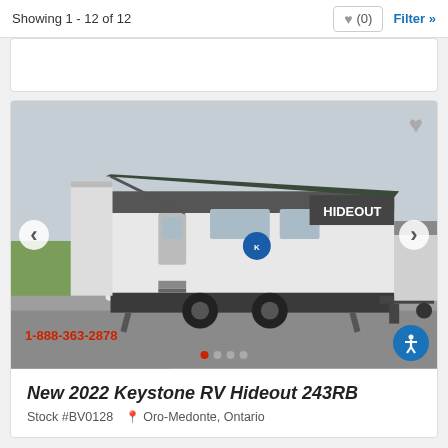Showing 1 - 12 of 12
[Figure (photo): 2022 Keystone RV Hideout 243RB travel trailer with dark awning extended, parked on a paved lot. Red phone number 1-888-363-2878 in lower left.]
New 2022 Keystone RV Hideout 243RB
Stock #BV0128  Oro-Medonte, Ontario